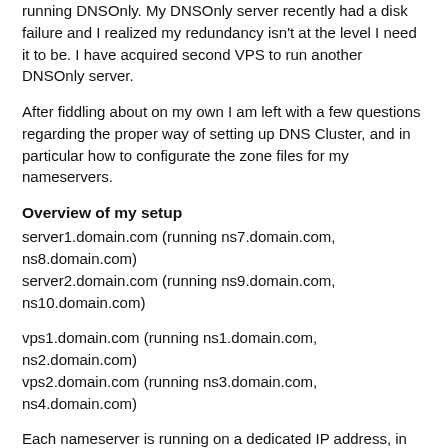running DNSOnly. My DNSOnly server recently had a disk failure and I realized my redundancy isn't at the level I need it to be. I have acquired second VPS to run another DNSOnly server.
After fiddling about on my own I am left with a few questions regarding the proper way of setting up DNS Cluster, and in particular how to configurate the zone files for my nameservers.
Overview of my setup
server1.domain.com (running ns7.domain.com, ns8.domain.com)
server2.domain.com (running ns9.domain.com, ns10.domain.com)
vps1.domain.com (running ns1.domain.com, ns2.domain.com)
vps2.domain.com (running ns3.domain.com, ns4.domain.com)
Each nameserver is running on a dedicated IP address, in current setup a total of 8 IP's just for nameservers. I don't know if this is the optimal setup but it seem to be the logical thing to do.
Registrar
I've set the domain to use ns1, ns2, ns3, ns4 to be used at the registrar (GoDaddy in this case). I've also added a hostname (and their IP's) to each of the servers/vps/nameservers.